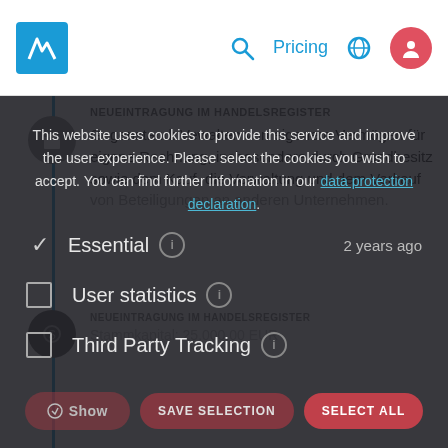[Figure (screenshot): Website navigation bar with logo, search icon, Pricing link, globe icon, and user account icon]
NEUEINTRAGUNG IM HANDELSREGISTER
Gegenstand: Vewalten von eigenem Vermögen für eigene Rechnung, insbesondere durch Grundbesitz sowie dem Kauf, die Verwaltung und dem Verkauf von Beteiligungen an anderen Unternehmen.
This website uses cookies to provide this service and improve the user experience. Please select the cookies you wish to accept. You can find further information in our data protection declaration.
Essential  ✓  2 years ago
User statistics ⓘ
Third Party Tracking ⓘ
NEUEINTRAGUNG IM HANDELSREGISTER
Stammkapital: 25.000,00 EUR
SAVE SELECTION  SELECT ALL